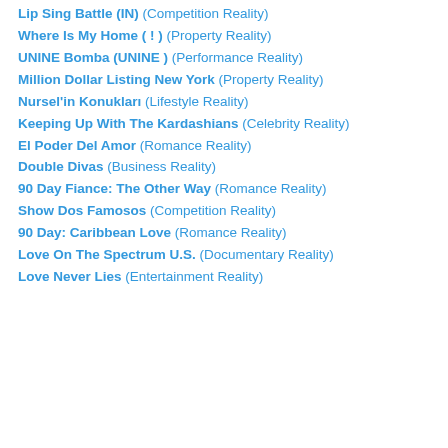Lip Sing Battle (IN) (Competition Reality)
Where Is My Home ( ! ) (Property Reality)
UNINE Bomba (UNINE ) (Performance Reality)
Million Dollar Listing New York (Property Reality)
Nursel'in Konukları (Lifestyle Reality)
Keeping Up With The Kardashians (Celebrity Reality)
El Poder Del Amor (Romance Reality)
Double Divas (Business Reality)
90 Day Fiance: The Other Way (Romance Reality)
Show Dos Famosos (Competition Reality)
90 Day: Caribbean Love (Romance Reality)
Love On The Spectrum U.S. (Documentary Reality)
Love Never Lies (Entertainment Reality)